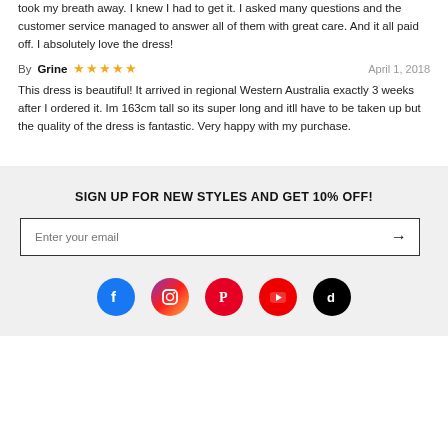took my breath away. I knew I had to get it. I asked many questions and the customer service managed to answer all of them with great care. And it all paid off. I absolutely love the dress!
By Grine  ★★★★★  April 1, 2018
This dress is beautiful! It arrived in regional Western Australia exactly 3 weeks after I ordered it. Im 163cm tall so its super long and itll have to be taken up but the quality of the dress is fantastic. Very happy with my purchase.
SIGN UP FOR NEW STYLES AND GET 10% OFF!
Enter your email
[Figure (infographic): Social media icons row: Facebook, Instagram, Pinterest, YouTube, TikTok]